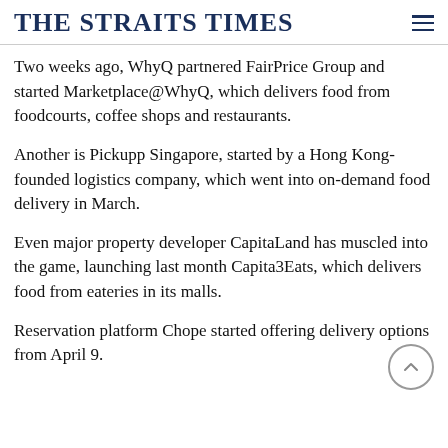THE STRAITS TIMES
Two weeks ago, WhyQ partnered FairPrice Group and started Marketplace@WhyQ, which delivers food from foodcourts, coffee shops and restaurants.
Another is Pickupp Singapore, started by a Hong Kong-founded logistics company, which went into on-demand food delivery in March.
Even major property developer CapitaLand has muscled into the game, launching last month Capita3Eats, which delivers food from eateries in its malls.
Reservation platform Chope started offering delivery options from April 9.